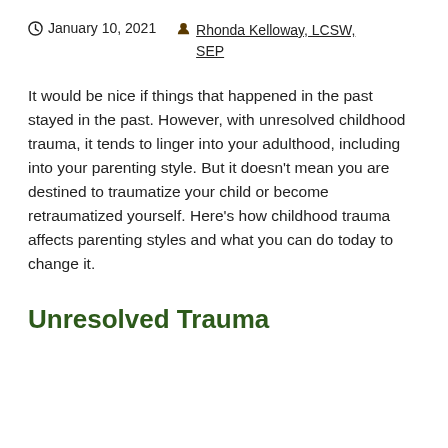January 10, 2021   Rhonda Kelloway, LCSW, SEP
It would be nice if things that happened in the past stayed in the past. However, with unresolved childhood trauma, it tends to linger into your adulthood, including into your parenting style. But it doesn't mean you are destined to traumatize your child or become retraumatized yourself. Here's how childhood trauma affects parenting styles and what you can do today to change it.
Unresolved Trauma